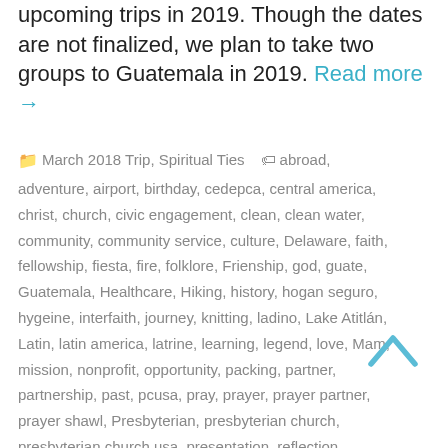upcoming trips in 2019. Though the dates are not finalized, we plan to take two groups to Guatemala in 2019. Read more →
March 2018 Trip, Spiritual Ties  abroad, adventure, airport, birthday, cedepca, central america, christ, church, civic engagement, clean, clean water, community, community service, culture, Delaware, faith, fellowship, fiesta, fire, folklore, Frienship, god, guate, Guatemala, Healthcare, Hiking, history, hogan seguro, hygeine, interfaith, journey, knitting, ladino, Lake Atitlán, Latin, latin america, latrine, learning, legend, love, Mam, mission, nonprofit, opportunity, packing, partner, partnership, past, pcusa, pray, prayer, prayer partner, prayer shawl, Presbyterian, presbyterian church, presbyterian church usa, presentation, reflection, sanitation, service, service learning, shawl, Spanish, toilet, travel, trip, un, united nations, video, water,